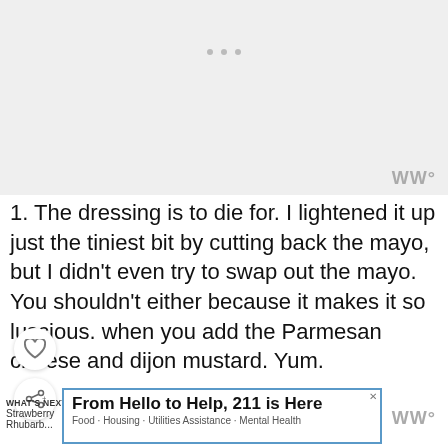[Figure (other): Gray advertisement placeholder area at top of page]
WW°
1. The dressing is to die for. I lightened it up just the tiniest bit by cutting back the mayo, but I didn't even try to swap out the mayo. You shouldn't either because it makes it so luscious. when you add the Parmesan cheese and dijon mustard. Yum.
[Figure (other): WHAT'S NEXT arrow label with Strawberry Rhubarb... text and circular food photo thumbnail]
[Figure (other): Advertisement: From Hello to Help, 211 is Here — Food · Housing · Utilities Assistance · Mental Health]
WW°